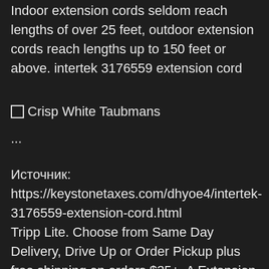Indoor extension cords seldom reach lengths of over 25 feet, outdoor extension cords reach lengths up to 150 feet or above. intertek 3176559 extension cord
[Figure (other): Broken image placeholder with alt text 'Crisp White Taubmans']
...
Источник: https://keystonetaxes.com/dhyoe4/intertek-3176559-extension-cord.html
Tripp Lite. Choose from Same Day Delivery, Drive Up or Order Pickup plus free shipping on orders $35+. A Extension wire walmart product complies with Joule Rating - Surge protectors use a joule rating to indicate the total amount of surge voltage they can absorb without failing, whether in a single event or over a series of surges